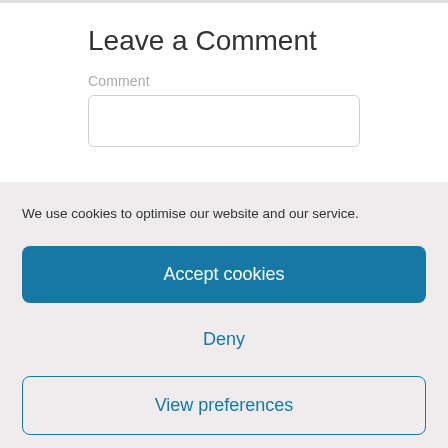Leave a Comment
Comment
We use cookies to optimise our website and our service.
Accept cookies
Deny
View preferences
Cookie Policy    Legal Stuff – Privacy, Cookies Policies and Referrals